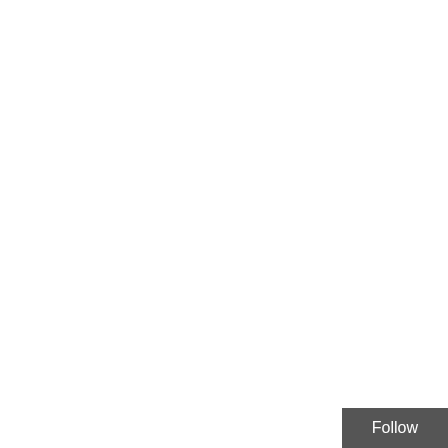penny teal says:
May 20, 2018 at 3:...
I just started listening to the... summarized here, with no ... denial shown by the speake... 20/20 tunnel vision.
marc says:
May 20, 2018 at 1:28 pm
For quite some time now it has be... one of the deep roots (if not the TA... played out right before our eyes. C... many of it's institutions threads in t... Even NASA is unapologetically ma... grown to despise this pathetic and... who so desperately